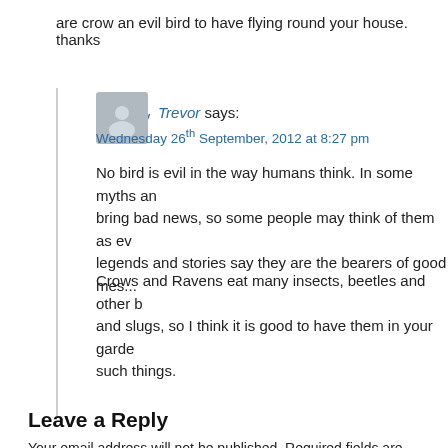are crow an evil bird to have flying round your house. thanks
Reply
Trevor says:
Wednesday 26th September, 2012 at 8:27 pm
No bird is evil in the way humans think. In some myths and legends crows bring bad news, so some people may think of them as evil, but other legends and stories say they are the bearers of good mes...
Crows and Ravens eat many insects, beetles and other bugs, worms and slugs, so I think it is good to have them in your garden if you like such things.
Reply
Leave a Reply
Your email address will not be published. Required fields are marked *
Comment *